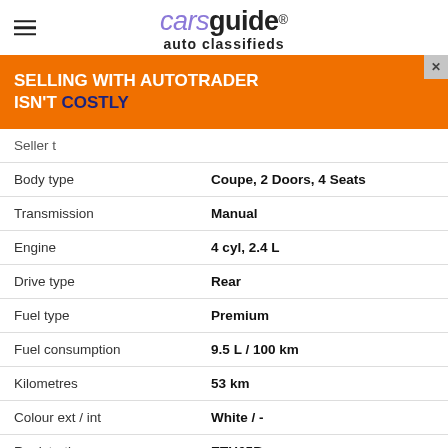carsguide auto classifieds
[Figure (other): Advertisement banner: SELLING WITH AUTOTRADER ISN'T COSTLY]
| Attribute | Value |
| --- | --- |
| Seller t… |  |
| Body type | Coupe, 2 Doors, 4 Seats |
| Transmission | Manual |
| Engine | 4 cyl, 2.4 L |
| Drive type | Rear |
| Fuel type | Premium |
| Fuel consumption | 9.5 L / 100 km |
| Kilometres | 53 km |
| Colour ext / int | White / - |
| Registration | ETH65B |
| Rego expiry | 2023-05-05 |